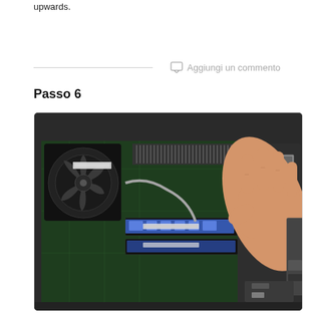upwards.
Aggiungi un commento
Passo 6
[Figure (photo): A hand inserting or removing a RAM module from a laptop's motherboard. The laptop's interior is visible showing a cooling fan, heatsink, motherboard, and RAM slot area.]